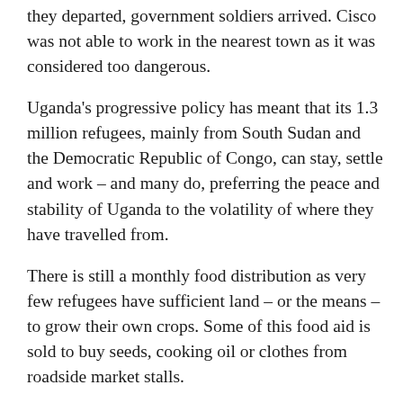they departed, government soldiers arrived. Cisco was not able to work in the nearest town as it was considered too dangerous.
Uganda's progressive policy has meant that its 1.3 million refugees, mainly from South Sudan and the Democratic Republic of Congo, can stay, settle and work – and many do, preferring the peace and stability of Uganda to the volatility of where they have travelled from.
There is still a monthly food distribution as very few refugees have sufficient land – or the means – to grow their own crops. Some of this food aid is sold to buy seeds, cooking oil or clothes from roadside market stalls.
Cisco helped distribute the food to other refugees once a month. He received 10,000 shillings (£2) and, sometimes, a bar of soap.